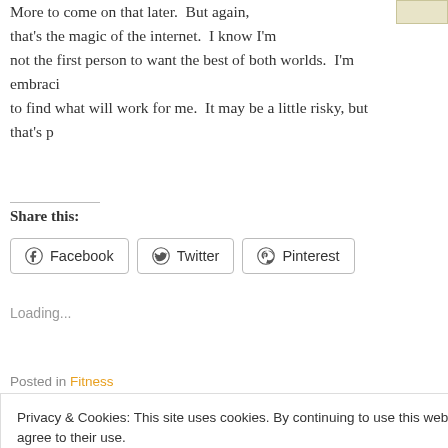More to come on that later.  But again, that's the magic of the internet.  I know I'm not the first person to want the best of both worlds.  I'm embracing to find what will work for me.  It may be a little risky, but that's pa
Share this:
Facebook  Twitter  Pinterest
Loading...
Posted in Fitness
Privacy & Cookies: This site uses cookies. By continuing to use this website, you agree to their use.
To find out more, including how to control cookies, see here: Cookie Policy
Close and accept